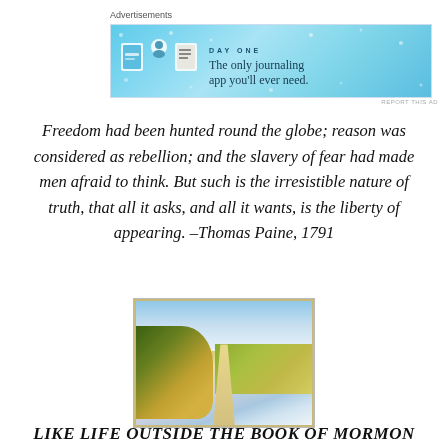Advertisements
[Figure (screenshot): Day One journaling app advertisement banner with light blue background, app icons, and text 'DAY ONE - The only journaling app you'll ever need.']
REPORT THIS AD
Freedom had been hunted round the globe; reason was considered as rebellion; and the slavery of fear had made men afraid to think. But such is the irresistible nature of truth, that all it asks, and all it wants, is the liberty of appearing. –Thomas Paine, 1791
[Figure (photo): A rustic dirt path leading through a field of sunflowers and wildflowers toward the horizon, with a cloudy sky above. Warm, vintage-toned photograph.]
LIKE LIFE OUTSIDE THE BOOK OF MORMON